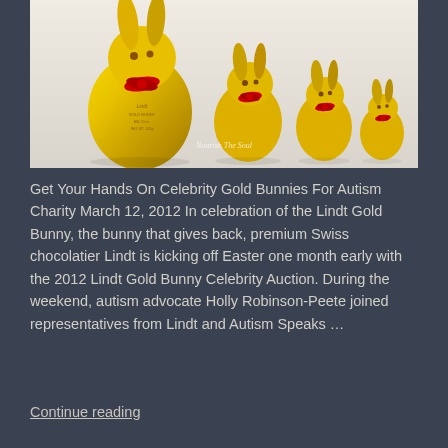[Figure (photo): Four Lindt Gold Bunny chocolate figures in descending size order, wrapped in gold foil with red ribbons, on a white background. A watermark reading 'Nourish The Soul' is visible on the image.]
Get Your Hands On Celebrity Gold Bunnies For Autism Charity March 12, 2012 In celebration of the Lindt Gold Bunny, the bunny that gives back, premium Swiss chocolatier Lindt is kicking off Easter one month early with the 2012 Lindt Gold Bunny Celebrity Auction. During the weekend, autism advocate Holly Robinson-Peete joined representatives from Lindt and Autism Speaks …
Continue reading